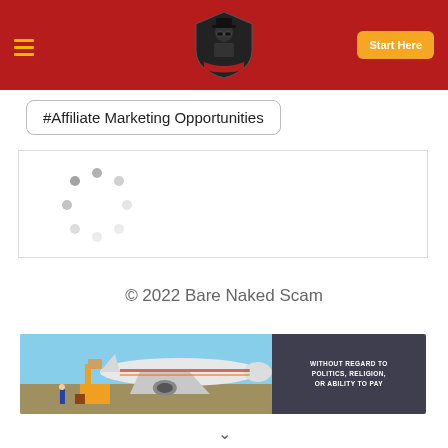Bare Naked Scam — navigation header with logo and Start Here button
#Affiliate Marketing Opportunities
[Figure (other): Loading spinner (circular dots animation) indicating content is loading]
© 2022 Bare Naked Scam
[Figure (photo): Advertisement banner showing an airplane being loaded with cargo on a tarmac, with text overlay reading 'WITHOUT REGARD TO POLITICS, RELIGION, OR ABILITY TO PAY']